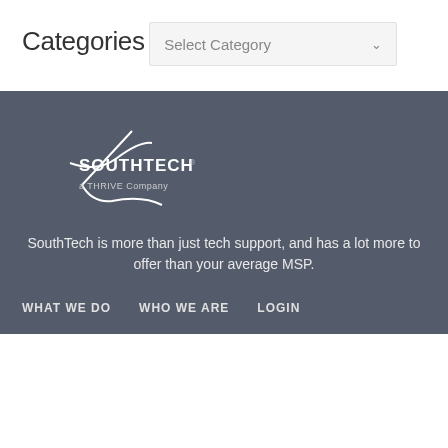Categories
Select Category
[Figure (logo): SouthTech logo — stylized bird/aircraft graphic with SOUTHTECH text and 'a THRIVE Company' tagline]
SouthTech is more than just tech support, and has a lot more to offer than your average MSP.
WHAT WE DO
WHO WE ARE
LOGIN